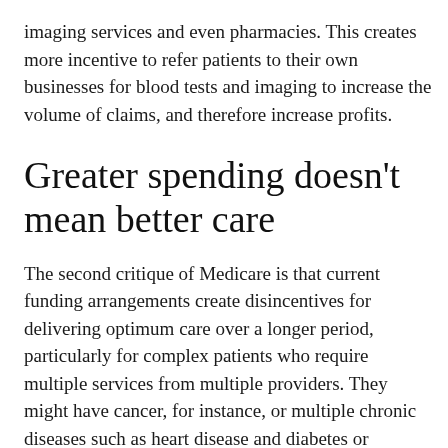imaging services and even pharmacies. This creates more incentive to refer patients to their own businesses for blood tests and imaging to increase the volume of claims, and therefore increase profits.
Greater spending doesn’t mean better care
The second critique of Medicare is that current funding arrangements create disincentives for delivering optimum care over a longer period, particularly for complex patients who require multiple services from multiple providers. They might have cancer, for instance, or multiple chronic diseases such as heart disease and diabetes or dementia.
Currently, Medicare makes a payment for every claim